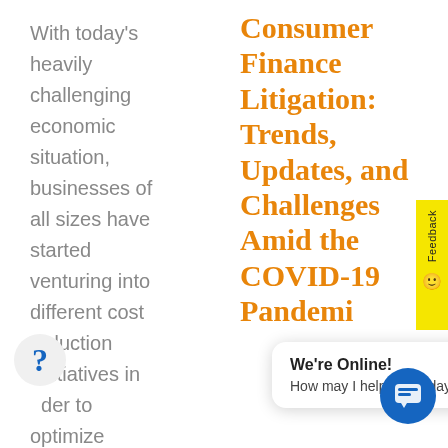With today's heavily challenging economic situation, businesses of all sizes have started venturing into different cost reduction initiatives in order to optimize
Consumer Finance Litigation: Trends, Updates, and Challenges Amid the COVID-19 Pandemi